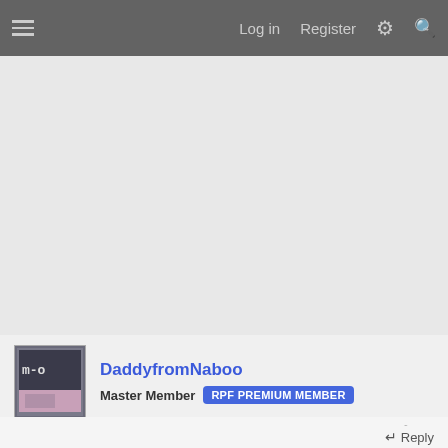Log in  Register
[Figure (other): Advertisement or blank content area, light gray background]
DaddyfromNaboo
Master Member  RPF PREMIUM MEMBER
Nov 13, 2019  #2
Id say I see a C64 right there at the bottom.
Reply